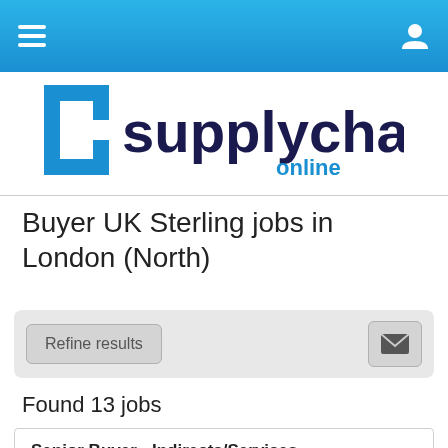supplychain online — navigation bar
[Figure (logo): Supply Chain Online logo: dark navy text 'supplychain' with blue bracket-style 'C' icon on left, and blue 'online' text below right]
Buyer UK Sterling jobs in London (North)
Refine results (filter bar with email alert button)
Found 13 jobs
Senior Buyer - Indirects/Services